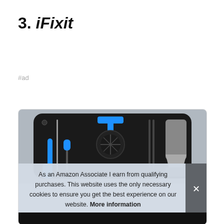3. iFixit
#ad
[Figure (photo): iFixit repair toolkit laid out in a black foam tray, showing tools including a suction cup, spudger, tweezers, and other repair instruments with blue accents]
As an Amazon Associate I earn from qualifying purchases. This website uses the only necessary cookies to ensure you get the best experience on our website. More information